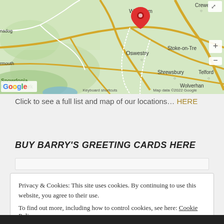[Figure (map): Google Map showing region of Wales and the English Midlands. Locations visible include Wrexham, Oswestry, Shrewsbury, Telford, Snowdonia National Park, Crewe, Stoke-on-Trent area, and Wolverhampton. A red map pin marker is placed near Wrexham. Map data ©2022 Google.]
Click to see a full list and map of our locations… HERE
BUY BARRY'S GREETING CARDS HERE
Privacy & Cookies: This site uses cookies. By continuing to use this website, you agree to their use.
To find out more, including how to control cookies, see here: Cookie Policy
Close and accept